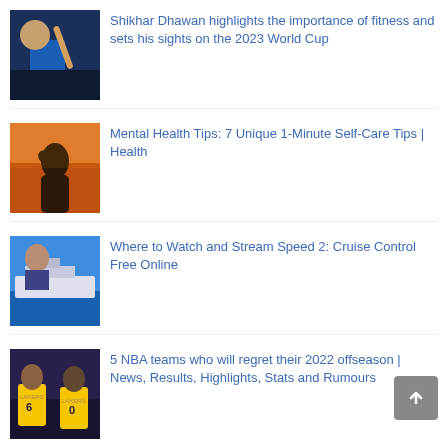[Figure (photo): Cricket player in blue Indian team jersey holding bat]
Shikhar Dhawan highlights the importance of fitness and sets his sights on the 2023 World Cup
[Figure (photo): Silhouette of person making heart shape with hands against sunset]
Mental Health Tips: 7 Unique 1-Minute Self-Care Tips | Health
[Figure (photo): Movie poster for Speed 2: Cruise Control showing man and cruise ship]
Where to Watch and Stream Speed 2: Cruise Control Free Online
[Figure (photo): NBA Lakers players in yellow jerseys, numbers 6 and 0]
5 NBA teams who will regret their 2022 offseason | News, Results, Highlights, Stats and Rumours